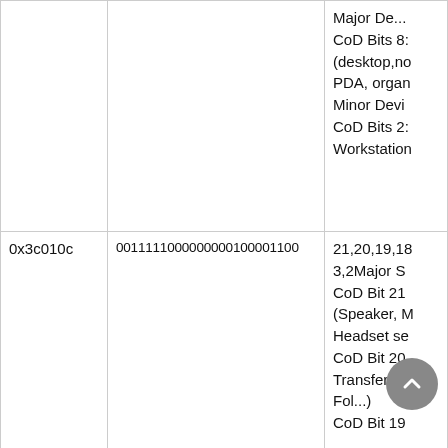|  |  | Major De...
CoD Bits 8:
(desktop,no
PDA, organ
Minor Devi
CoD Bits 2:
Workstation |
| 0x3c010c | 0011111000000000100001100 | 21,20,19,18
3,2Major S
CoD Bit 21
(Speaker, M
Headset se
CoD Bit 20
Transfer (v
Fol...)
CoD Bit 19 |